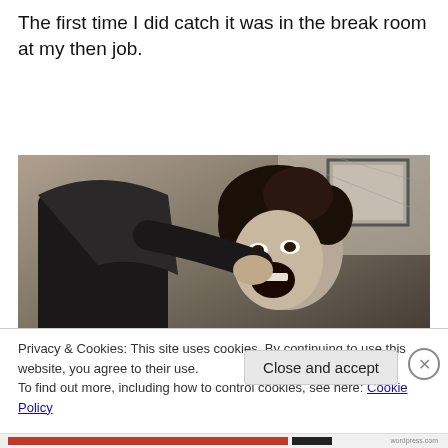The first time I did catch it was in the break room at my then job.
[Figure (photo): Black and white dramatic photo taken from low angle showing a man in a suit grabbing or punching another person with curly hair who appears to be screaming, with a framed picture on the wall in the background.]
Privacy & Cookies: This site uses cookies. By continuing to use this website, you agree to their use.
To find out more, including how to control cookies, see here: Cookie Policy
Close and accept